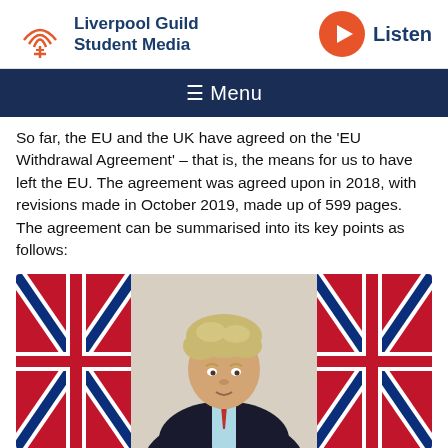Liverpool Guild Student Media | Listen
≡ Menu
So far, the EU and the UK have agreed on the 'EU Withdrawal Agreement' – that is, the means for us to have left the EU. The agreement was agreed upon in 2018, with revisions made in October 2019, made up of 599 pages. The agreement can be summarised into its key points as follows:
[Figure (photo): Photo of Boris Johnson seated in front of two Union Jack flags]